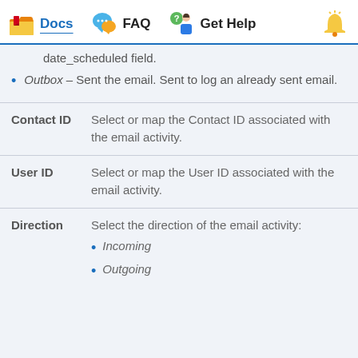Docs  FAQ  Get Help
date_scheduled field.
Outbox – Sent the email. Sent to log an already sent email.
| Field | Description |
| --- | --- |
| Contact ID | Select or map the Contact ID associated with the email activity. |
| User ID | Select or map the User ID associated with the email activity. |
| Direction | Select the direction of the email activity: Incoming, Outgoing |